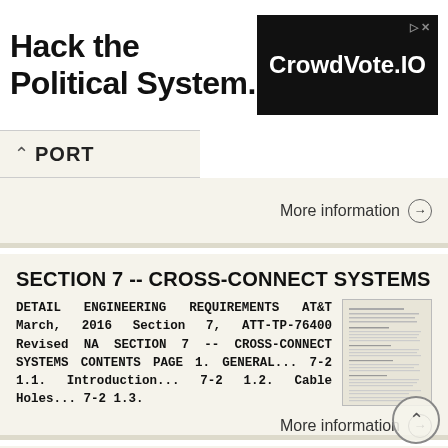[Figure (other): Advertisement banner: 'Hack the Political System.' text on left, 'CrowdVote.IO' black logo box on right with arrow icon]
PORT
More information →
SECTION 7 -- CROSS-CONNECT SYSTEMS
DETAIL ENGINEERING REQUIREMENTS AT&T March, 2016 Section 7, ATT-TP-76400 Revised NA SECTION 7 -- CROSS-CONNECT SYSTEMS CONTENTS PAGE 1. GENERAL... 7-2 1.1. Introduction... 7-2 1.2. Cable Holes... 7-2 1.3.
[Figure (screenshot): Thumbnail image of a document page showing text content]
More information →
Peak Atlas IT. RJ45 Network Cable Analyser Model UTP05. Designed and